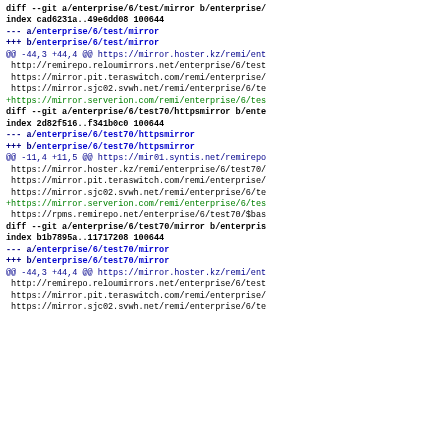diff --git a/enterprise/6/test/mirror b/enterprise/...
index cad6231a..49e6dd08 100644
--- a/enterprise/6/test/mirror
+++ b/enterprise/6/test/mirror
@@ -44,3 +44,4 @@ https://mirror.hoster.kz/remi/ent
 http://remirepo.reloumirrors.net/enterprise/6/test
 https://mirror.pit.teraswitch.com/remi/enterprise/
 https://mirror.sjc02.svwh.net/remi/enterprise/6/te
+https://mirror.serverion.com/remi/enterprise/6/tes
diff --git a/enterprise/6/test70/httpsmirror b/ente...
index 2d82f516..f341b0c0 100644
--- a/enterprise/6/test70/httpsmirror
+++ b/enterprise/6/test70/httpsmirror
@@ -11,4 +11,5 @@ https://mir01.syntis.net/remirepo
 https://mirror.hoster.kz/remi/enterprise/6/test70/
 https://mirror.pit.teraswitch.com/remi/enterprise/
 https://mirror.sjc02.svwh.net/remi/enterprise/6/te
+https://mirror.serverion.com/remi/enterprise/6/tes
 https://rpms.remirepo.net/enterprise/6/test70/$bas
diff --git a/enterprise/6/test70/mirror b/enterpris...
index b1b7895a..11717208 100644
--- a/enterprise/6/test70/mirror
+++ b/enterprise/6/test70/mirror
@@ -44,3 +44,4 @@ https://mirror.hoster.kz/remi/ent
 http://remirepo.reloumirrors.net/enterprise/6/test
 https://mirror.pit.teraswitch.com/remi/enterprise/
 https://mirror.sjc02.svwh.net/remi/enterprise/6/te